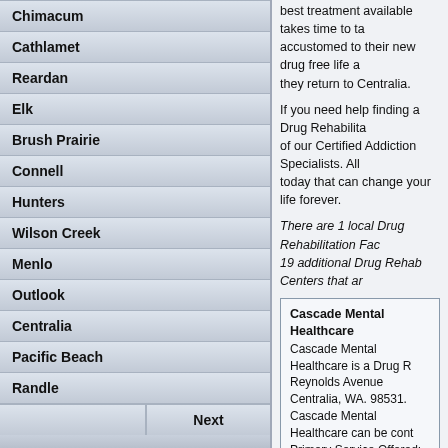Chimacum
Cathlamet
Reardan
Elk
Brush Prairie
Connell
Hunters
Wilson Creek
Menlo
Outlook
Centralia
Pacific Beach
Randle
Next
best treatment available takes time to take accustomed to their new drug free life a they return to Centralia.
If you need help finding a Drug Rehabilita of our Certified Addiction Specialists. All today that can change your life forever.
There are 1 local Drug Rehabilitation Fac 19 additional Drug Rehab Centers that ar
Cascade Mental Healthcare - Cascade Mental Healthcare is a Drug R Reynolds Avenue Centralia, WA. 98531. Cascade Mental Healthcare can be cont Primary Service Offered: Drug Rehabilita Treatment Services: Mental Wellness Se Patients, Lesbian and Gay Drug Rehabs Hearing Impaired
Eugenia Center 5.2 miles from Centrali Eugenia Center is a Drug Treatment Ce Chehalis, WA. 98532. Eugenia Center can be contacted by ca Primary Service Offered: Drug Treatme Treatment Services: Drug Rehab Progra Patients, Females, Males, DUI Clients, Hearing Impaired, Spanish Speaking
Tsapowum Chehalis Tribal Behav Hea Tsapowum Chehalis Tribal Behav Health